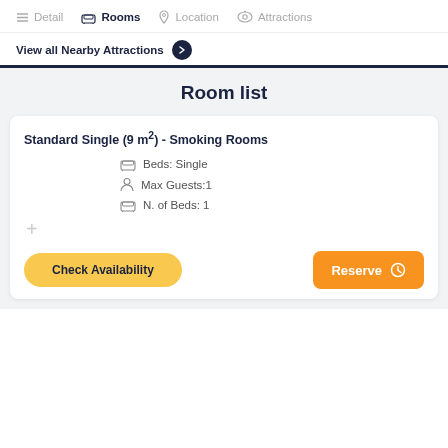Detail  Rooms  Location  Attractions
View all Nearby Attractions
Room list
Standard Single (9 m²) - Smoking Rooms
Beds: Single
Max Guests:1
N. of Beds: 1
Check Availability
Reserve